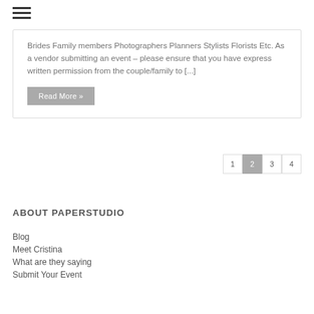[Figure (other): Hamburger menu icon (three horizontal lines)]
Brides Family members Photographers Planners Stylists Florists Etc. As a vendor submitting an event – please ensure that you have express written permission from the couple/family to [...]
Read More »
1  2  3  4
ABOUT PAPERSTUDIO
Blog
Meet Cristina
What are they saying
Submit Your Event